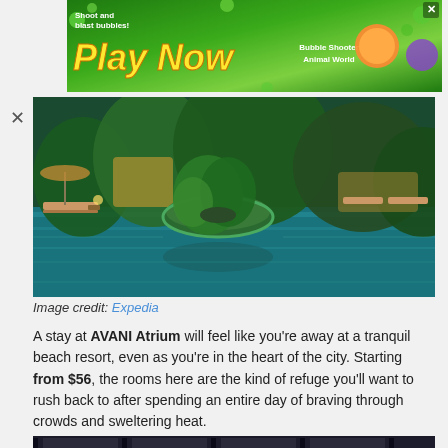[Figure (photo): Green bubble shooter game advertisement banner with 'Shoot and blast bubbles! Play Now' text and 'Bubble Shooter Animal World' branding on a green background with cartoon animal characters]
[Figure (photo): Hotel pool area with lush tropical plants on an island in the center of the pool, lounge chairs, warm yellow lighting, and lush greenery surrounding the pool at AVANI Atrium hotel]
Image credit: Expedia
A stay at AVANI Atrium will feel like you're away at a tranquil beach resort, even as you're in the heart of the city. Starting from $56, the rooms here are the kind of refuge you'll want to rush back to after spending an entire day of braving through crowds and sweltering heat.
[Figure (photo): Interior view of a hotel room or bar with dark paneling and large floor-to-ceiling windows showing a city skyline, with tall grass or plant decoration visible]